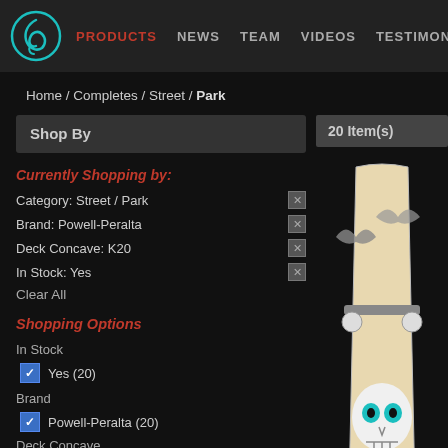PRODUCTS | NEWS | TEAM | VIDEOS | TESTIMONIALS
Home / Completes / Street / Park
Shop By
Currently Shopping by:
Category: Street / Park
Brand: Powell-Peralta
Deck Concave: K20
In Stock: Yes
Clear All
Shopping Options
In Stock
Yes (20)
Brand
Powell-Peralta (20)
Deck Concave
20 Item(s)
[Figure (photo): Powell-Peralta skateboard complete with Ripper skull graphic, Street/Park category product image]